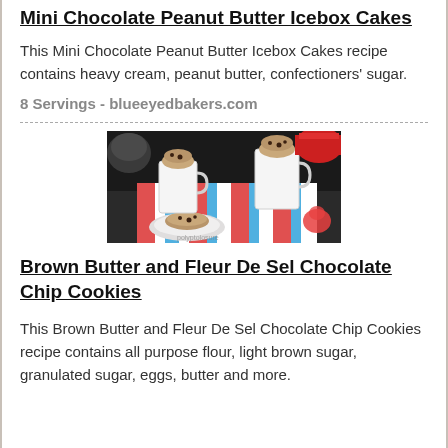Mini Chocolate Peanut Butter Icebox Cakes
This Mini Chocolate Peanut Butter Icebox Cakes recipe contains heavy cream, peanut butter, confectioners' sugar.
8 Servings - blueeyedbakers.com
[Figure (photo): Photo of muffins/cookies in white mugs and on a plate, placed on a colorful striped cloth with floral accents on a dark background.]
Brown Butter and Fleur De Sel Chocolate Chip Cookies
This Brown Butter and Fleur De Sel Chocolate Chip Cookies recipe contains all purpose flour, light brown sugar, granulated sugar, eggs, butter and more.